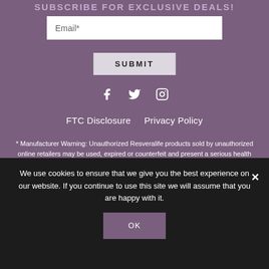SUBSCRIBE FOR EXCLUSIVE DEALS!
[Figure (screenshot): Email input field with placeholder text 'Email*' on white background]
[Figure (screenshot): Submit button with text 'SUBMIT']
[Figure (screenshot): Social media icons: Facebook, Twitter, Instagram]
FTC Disclosure   Privacy Policy
* Manufacturer Warning: Unauthorized Resveralife products sold by unauthorized online retailers may be used, expired or counterfeit and present a serious health risk. To report unauthorized sales or confirm the authenticity of your product, please contact us
We use cookies to ensure that we give you the best experience on our website. If you continue to use this site we will assume that you are happy with it.
[Figure (screenshot): OK button on cookie consent banner]